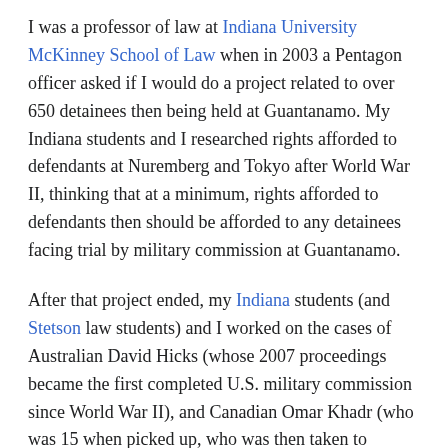I was a professor of law at Indiana University McKinney School of Law when in 2003 a Pentagon officer asked if I would do a project related to over 650 detainees then being held at Guantanamo. My Indiana students and I researched rights afforded to defendants at Nuremberg and Tokyo after World War II, thinking that at a minimum, rights afforded to defendants then should be afforded to any detainees facing trial by military commission at Guantanamo.
After that project ended, my Indiana students (and Stetson law students) and I worked on the cases of Australian David Hicks (whose 2007 proceedings became the first completed U.S. military commission since World War II), and Canadian Omar Khadr (who was 15 when picked up, who was then taken to Guantanamo and charged).
Fast forward, and I founded the Military Commission Observation Project at Indiana, through which we send faculty, staff, graduates and current students to Guantanamo to monitor hearings, exploring rights afforded to all Guantanamo stakeholder groups. Stakeholder